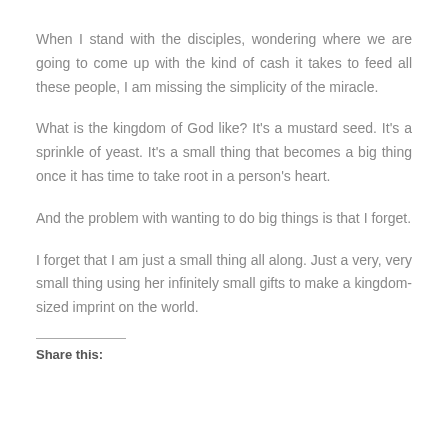When I stand with the disciples, wondering where we are going to come up with the kind of cash it takes to feed all these people, I am missing the simplicity of the miracle.
What is the kingdom of God like? It's a mustard seed. It's a sprinkle of yeast. It's a small thing that becomes a big thing once it has time to take root in a person's heart.
And the problem with wanting to do big things is that I forget.
I forget that I am just a small thing all along. Just a very, very small thing using her infinitely small gifts to make a kingdom-sized imprint on the world.
Share this: